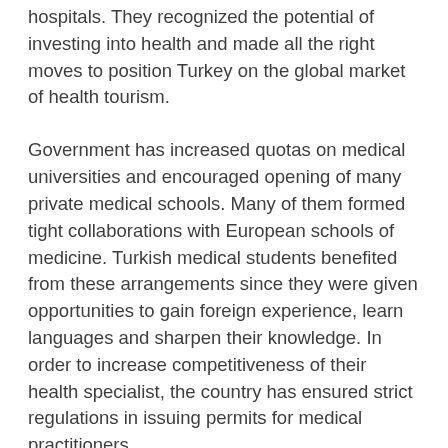hospitals. They recognized the potential of investing into health and made all the right moves to position Turkey on the global market of health tourism.
Government has increased quotas on medical universities and encouraged opening of many private medical schools. Many of them formed tight collaborations with European schools of medicine. Turkish medical students benefited from these arrangements since they were given opportunities to gain foreign experience, learn languages and sharpen their knowledge. In order to increase competitiveness of their health specialist, the country has ensured strict regulations in issuing permits for medical practitioners.
Investment in human resources is the most important